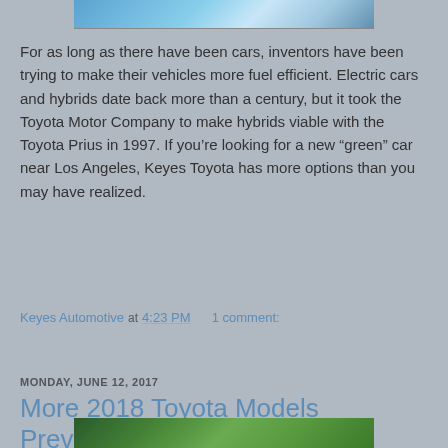[Figure (photo): Partial view of a car photo at the top of the page, blue sky background]
For as long as there have been cars, inventors have been trying to make their vehicles more fuel efficient. Electric cars and hybrids date back more than a century, but it took the Toyota Motor Company to make hybrids viable with the Toyota Prius in 1997. If you’re looking for a new “green” car near Los Angeles, Keyes Toyota has more options than you may have realized.
Keyes Automotive at 4:23 PM    1 comment:
Share
MONDAY, JUNE 12, 2017
More 2018 Toyota Models Previewed
[Figure (photo): Partial view of a car photo at the bottom of the page, green landscape background]